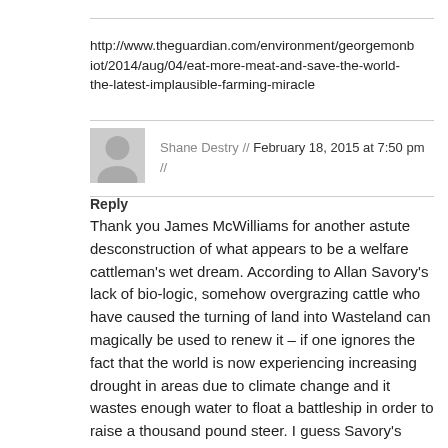http://www.theguardian.com/environment/georgemonbiot/2014/aug/04/eat-more-meat-and-save-the-world-the-latest-implausible-farming-miracle
Shane Destry // February 18, 2015 at 7:50 pm //
Reply
Thank you James McWilliams for another astute desconstruction of what appears to be a welfare cattleman's wet dream. According to Allan Savory's lack of bio-logic, somehow overgrazing cattle who have caused the turning of land into Wasteland can magically be used to renew it – if one ignores the fact that the world is now experiencing increasing drought in areas due to climate change and it wastes enough water to float a battleship in order to raise a thousand pound steer. I guess Savory's fantasy can be placed on